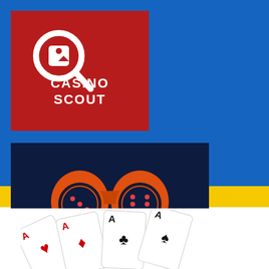[Figure (logo): CasinoScout logo - white magnifying glass icon with tag and text CASINO SCOUT on dark red/crimson background]
[Figure (logo): Kasinopartio logo - orange binoculars with dice icons inside lenses, text KASINOPARTIO in white, on dark navy background]
[Figure (illustration): Four playing cards fanned out showing four Aces - Ace of hearts (red), Ace of diamonds (red), Ace of clubs (black), Ace of spades (black)]